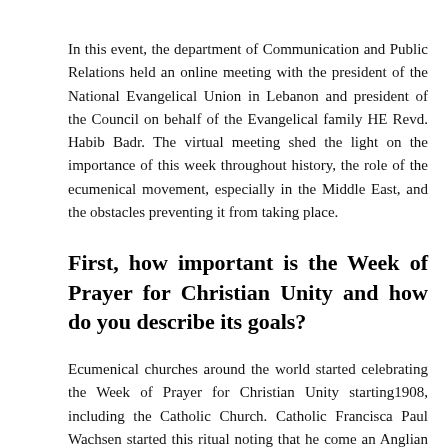In this event, the department of Communication and Public Relations held an online meeting with the president of the National Evangelical Union in Lebanon and president of the Council on behalf of the Evangelical family HE Revd. Habib Badr. The virtual meeting shed the light on the importance of this week throughout history, the role of the ecumenical movement, especially in the Middle East, and the obstacles preventing it from taking place.
First, how important is the Week of Prayer for Christian Unity and how do you describe its goals?
Ecumenical churches around the world started celebrating the Week of Prayer for Christian Unity starting1908, including the Catholic Church. Catholic Franciscan Paul Wachsen started this ritual noting that he comes from an Anglian background, he then joined the Catholic Church before becoming a Franciscan friar. A few years